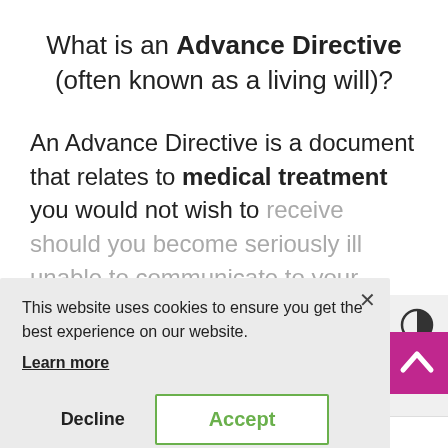What is an Advance Directive (often known as a living will)?
An Advance Directive is a document that relates to medical treatment you would not wish to receive should you become seriously ill or unable to communicate to your wishes yourself. It allows you to specify the treatment you would like or not like in the event of a serious illness or disability.
This website uses cookies to ensure you get the best experience on our website. Learn more
Decline | Accept